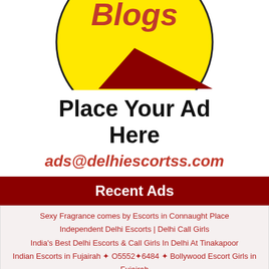[Figure (logo): Partial yellow circle with dark red triangular slice and red italic 'Blogs' text on top]
Place Your Ad Here
ads@delhiescortss.com
Recent Ads
Sexy Fragrance comes by Escorts in Connaught Place
Independent Delhi Escorts | Delhi Call Girls
India's Best Delhi Escorts & Call Girls In Delhi At Tinakapoor
Indian Escorts in Fujairah ✦ O5552✦6484 ✦ Bollywood Escort Girls in Fujairah